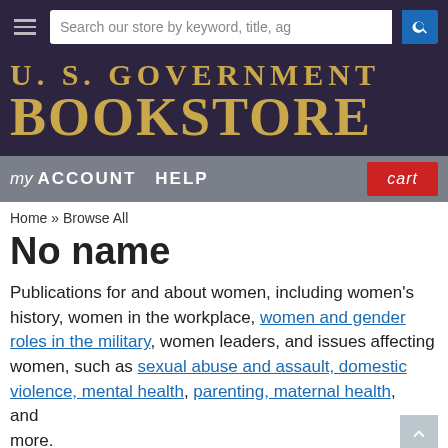Search our store by keyword, title, ag
[Figure (logo): U.S. Government Bookstore logo in gold text on dark purple background]
my ACCOUNT  HELP  cart
Home » Browse All
No name
Publications for and about women, including women's history, women in the workplace, women and gender roles in the military, women leaders, and issues affecting women, such as sexual abuse and assault, domestic violence, mental health, parenting, maternal health, and more.